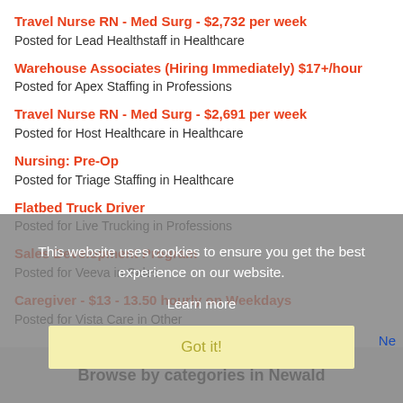Travel Nurse RN - Med Surg - $2,732 per week
Posted for Lead Healthstaff in Healthcare
Warehouse Associates (Hiring Immediately) $17+/hour
Posted for Apex Staffing in Professions
Travel Nurse RN - Med Surg - $2,691 per week
Posted for Host Healthcare in Healthcare
Nursing: Pre-Op
Posted for Triage Staffing in Healthcare
Flatbed Truck Driver
Posted for Live Trucking in Professions
Sales Development Program
Posted for Veeva in Sales
Caregiver - $13 - 13.50 hourly on Weekdays
Posted for Vista Care in Other
This website uses cookies to ensure you get the best experience on our website.
Learn more
Got it!
Ne
Browse by categories in Newald